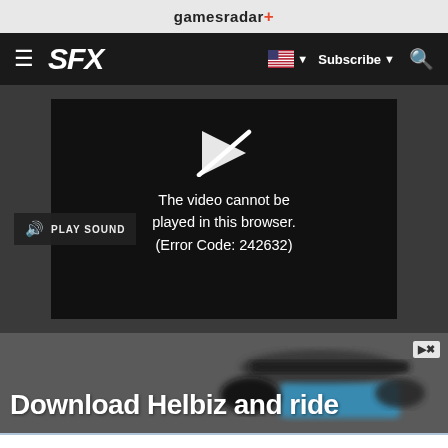gamesradar+
[Figure (screenshot): SFX website navigation bar with hamburger menu, SFX logo in italic bold white, US flag with dropdown, Subscribe button, and search icon on dark background]
[Figure (screenshot): Video player showing error: The video cannot be played in this browser. (Error Code: 242632). Has a play icon and a PLAY SOUND button overlay.]
The video cannot be played in this browser. (Error Code: 242632)
[Figure (screenshot): Advertisement banner showing 'Download Helbiz and ride' text over a blurred scooter handlebar image with ad controls (play, close) in top right.]
Download Helbiz and ride